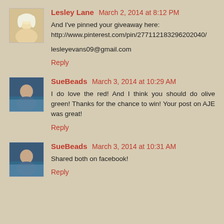Lesley Lane March 2, 2014 at 8:12 PM
And I've pinned your giveaway here: http://www.pinterest.com/pin/277112183296202040/
lesleyevans09@gmail.com
Reply
SueBeads March 3, 2014 at 10:29 AM
I do love the red! And I think you should do olive green! Thanks for the chance to win! Your post on AJE was great!
Reply
SueBeads March 3, 2014 at 10:31 AM
Shared both on facebook!
Reply